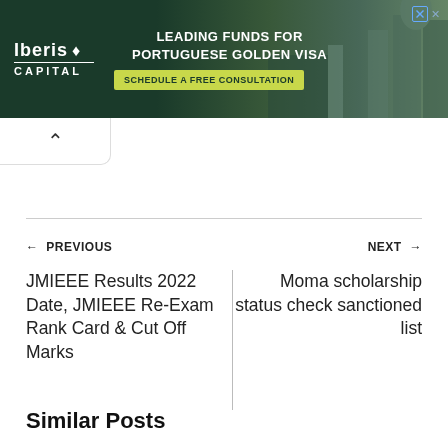[Figure (illustration): Iberis Capital advertisement banner: 'Leading Funds for Portuguese Golden Visa - Schedule a Free Consultation' with dark green background and city/architecture imagery]
← PREVIOUS
NEXT →
JMIEEE Results 2022 Date, JMIEEE Re-Exam Rank Card & Cut Off Marks
Moma scholarship status check sanctioned list
Similar Posts